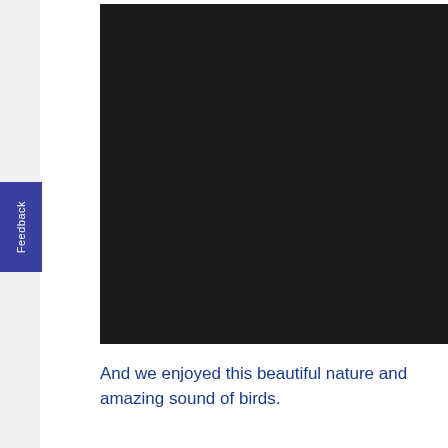[Figure (photo): A predominantly dark/black photograph, nearly entirely obscured, likely an outdoor nature scene.]
And we enjoyed this beautiful nature and amazing sound of birds.